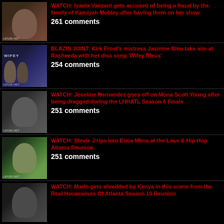WATCH: Iyanla Vanzant gets accused of being a fraud by the family of Kamiyah Mobley after having them on her show
261 comments
BLAZIN JOINT: Kirk Frost’s mistress Jasmine Bleu take aim at Rasheeda with her diss song ‘Wifey Bleus’
254 comments
WATCH: Joseline Hernandez goes off on Mona Scott Young after being dragged during the LHHATL Season 6 Finale
251 comments
WATCH: Stevie J rips into Erica Mena at the Love & Hip Hop Atlanta Reunion
251 comments
WATCH: Marlo gets shredded by Kenya in this scene from the Real Housewives Of Atlanta Season 10 Reunion